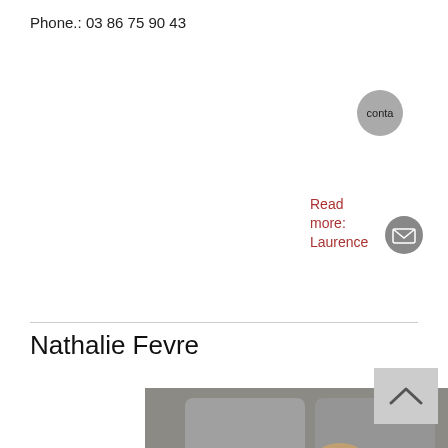Phone.: 03 86 75 90 43
[Figure (other): Circular grey button with text 'conta' (partial, contact button)]
Read more: Laurence
[Figure (other): Circular grey email icon button]
Nathalie Fevre
[Figure (photo): Two women smiling in what appears to be a winery or brewery setting with stainless steel tanks in the background. The woman in front has long blonde hair, the woman behind has her hair up and is wearing a blue checked shirt.]
[Figure (other): Scroll-to-top button with upward chevron arrow]